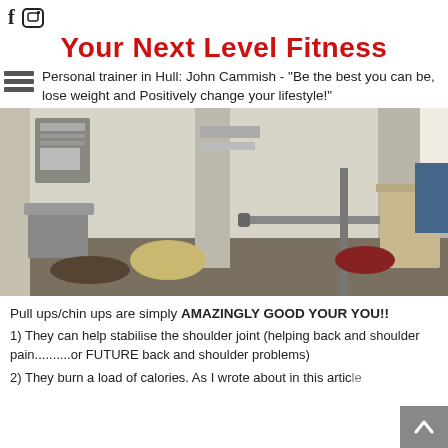f [instagram icon]
Your Next Level Fitness
Personal trainer in Hull: John Cammish - "Be the best you can be, lose weight and Positively change your lifestyle!"
[Figure (photo): Interior of a gym with weights, a barbell on a rack, posters on the wall, a folding table, and exercise equipment on the floor.]
Pull ups/chin ups are simply AMAZINGLY GOOD YOUR YOU!!
1) They can help stabilise the shoulder joint (helping back and shoulder pain..........or FUTURE back and shoulder problems)
2) They burn a load of calories.  As I wrote about in this article